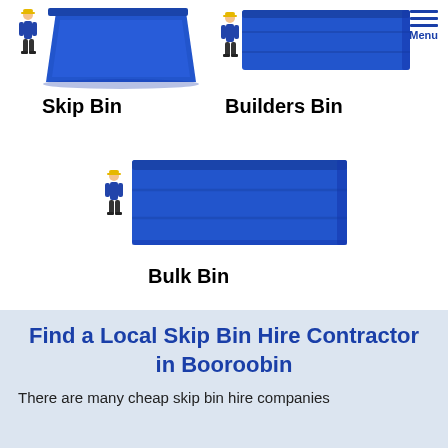[Figure (illustration): Skip Bin illustration with person figure next to a large blue trapezoidal skip bin container]
Skip Bin
[Figure (illustration): Builders Bin illustration with person figure next to a blue rectangular builders bin container]
Builders Bin
[Figure (illustration): Bulk Bin illustration with person figure next to a large blue rectangular bulk bin container]
Bulk Bin
Find a Local Skip Bin Hire Contractor in Booroobin
There are many cheap skip bin hire companies